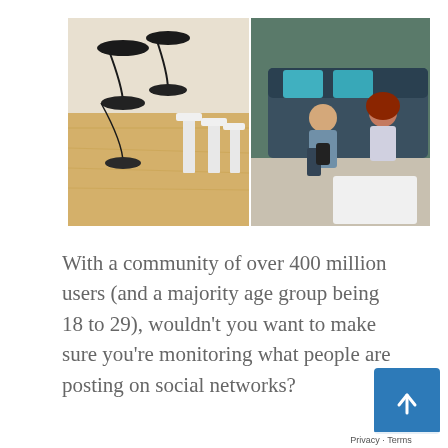[Figure (photo): Overhead view of a modern apartment/living space. Left half shows a wooden counter/table with black pendant lamps and white bar stools. Right half shows a dark sofa with teal cushions where two people (man and woman) sit looking at a phone and laptop computer.]
With a community of over 400 million users (and a majority age group being 18 to 29), wouldn't you want to make sure you're monitoring what people are posting on social networks?